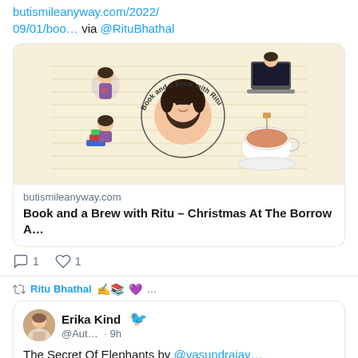butismileanyway.com/2022/09/01/boo… via @RituBhathal
[Figure (illustration): Book and a Brew with Ritu promotional image on lined paper background with cartoon bitmoji characters — one holding a heart, one sitting on books, one at a laptop, one reading, and a teacup. Text in circle: 'Book and a Brew with Ritu']
butismileanyway.com
Book and a Brew with Ritu – Christmas At The Borrow A...
1 comment, 1 like
Ritu Bhathal ✍📚 💜 ...
Erika Kind @Aut… · 9h
The Secret Of Elephants by @vasundrajay...